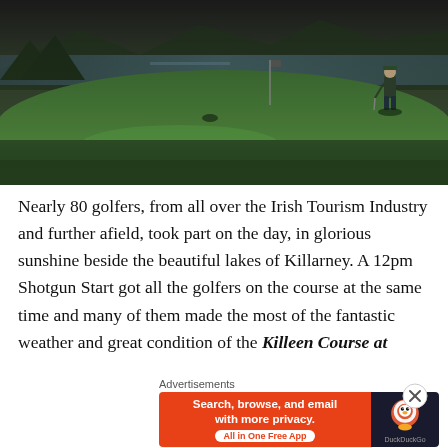[Figure (photo): Golf course green with a golfer standing on the right side, mountains and a lake visible in the background, dark moody sky, lush green grass in the foreground.]
Nearly 80 golfers, from all over the Irish Tourism Industry and further afield, took part on the day, in glorious sunshine beside the beautiful lakes of Killarney. A 12pm Shotgun Start got all the golfers on the course at the same time and many of them made the most of the fantastic weather and great condition of the Killeen Course at
Advertisements
[Figure (screenshot): DuckDuckGo advertisement banner: orange section on left reads 'Search, browse, and email with more privacy. All in One Free App' with white button; dark section on right shows DuckDuckGo logo.]